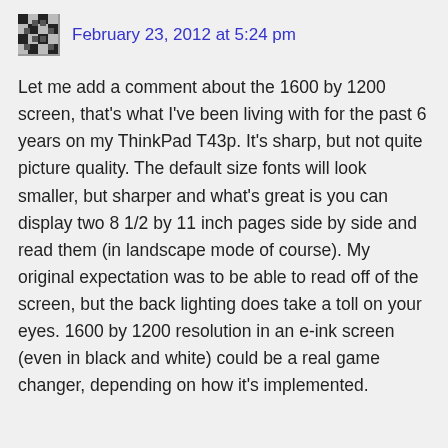February 23, 2012 at 5:24 pm
Let me add a comment about the 1600 by 1200 screen, that's what I've been living with for the past 6 years on my ThinkPad T43p. It's sharp, but not quite picture quality. The default size fonts will look smaller, but sharper and what's great is you can display two 8 1/2 by 11 inch pages side by side and read them (in landscape mode of course). My original expectation was to be able to read off of the screen, but the back lighting does take a toll on your eyes. 1600 by 1200 resolution in an e-ink screen (even in black and white) could be a real game changer, depending on how it's implemented.